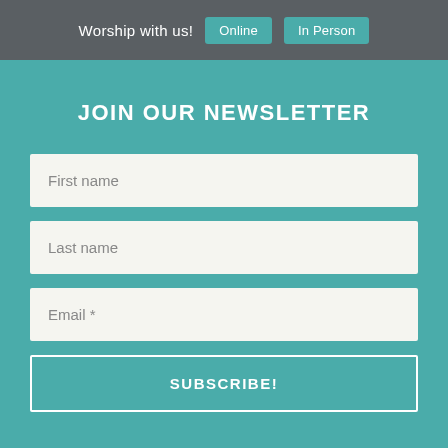Worship with us! Online In Person
JOIN OUR NEWSLETTER
First name
Last name
Email *
SUBSCRIBE!